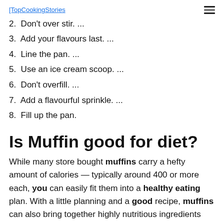TopCookingStories
2. Don't over stir. ...
3. Add your flavours last. ...
4. Line the pan. ...
5. Use an ice cream scoop. ...
6. Don't overfill. ...
7. Add a flavourful sprinkle. ...
8. Fill up the pan.
Is Muffin good for diet?
While many store bought muffins carry a hefty amount of calories — typically around 400 or more each, you can easily fit them into a healthy eating plan. With a little planning and a good recipe, muffins can also bring together highly nutritious ingredients like whole grains,